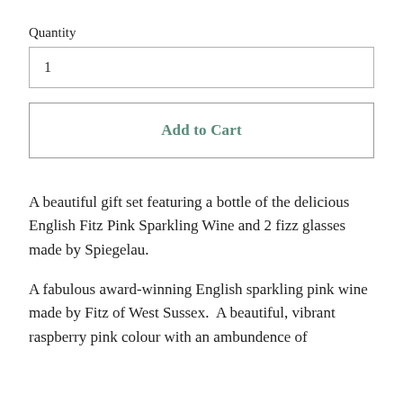Quantity
1
Add to Cart
A beautiful gift set featuring a bottle of the delicious English Fitz Pink Sparkling Wine and 2 fizz glasses made by Spiegelau.
A fabulous award-winning English sparkling pink wine made by Fitz of West Sussex.  A beautiful, vibrant raspberry pink colour with an ambundence of